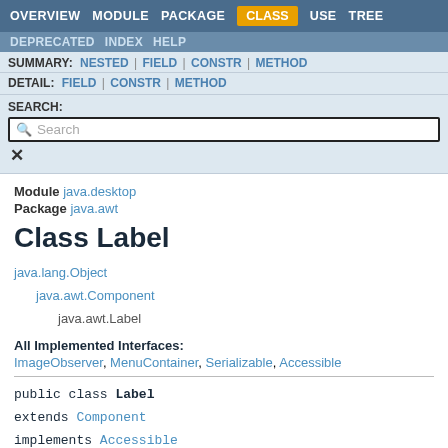OVERVIEW  MODULE  PACKAGE  CLASS  USE  TREE
DEPRECATED  INDEX  HELP
SUMMARY: NESTED | FIELD | CONSTR | METHOD
DETAIL: FIELD | CONSTR | METHOD
SEARCH:
Search
Module java.desktop
Package java.awt
Class Label
java.lang.Object
    java.awt.Component
        java.awt.Label
All Implemented Interfaces:
ImageObserver, MenuContainer, Serializable, Accessible
public class Label
extends Component
implements Accessible